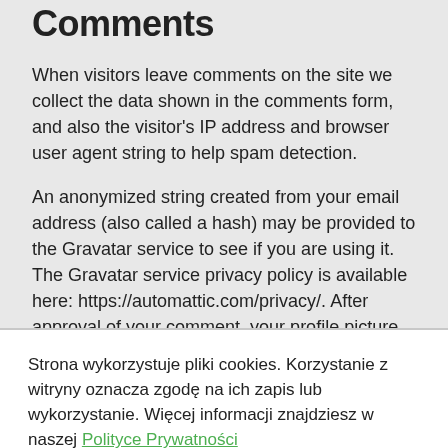Comments
When visitors leave comments on the site we collect the data shown in the comments form, and also the visitor's IP address and browser user agent string to help spam detection.
An anonymized string created from your email address (also called a hash) may be provided to the Gravatar service to see if you are using it. The Gravatar service privacy policy is available here: https://automattic.com/privacy/. After approval of your comment, your profile picture is visible to the public in the context of your comment.
Strona wykorzystuje pliki cookies. Korzystanie z witryny oznacza zgodę na ich zapis lub wykorzystanie. Więcej informacji znajdziesz w naszej Polityce Prywatności
ZAMKNIJ